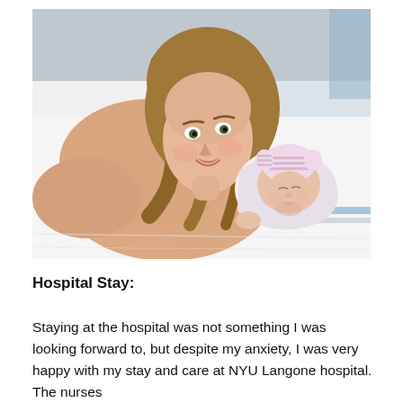[Figure (photo): A woman lying in a hospital bed smiling at the camera while holding a newborn baby wearing a pink and white striped hat on her chest. White hospital pillows and linens visible in background.]
Hospital Stay:
Staying at the hospital was not something I was looking forward to, but despite my anxiety, I was very happy with my stay and care at NYU Langone hospital. The nurses